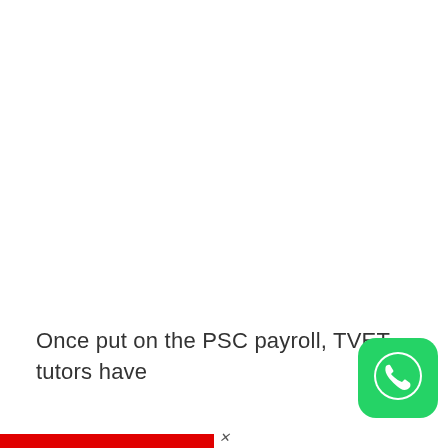Once put on the PSC payroll, TVET tutors have
[Figure (logo): WhatsApp app icon — green rounded square with white phone handset graphic]
[Figure (other): Red horizontal bar at bottom left of page, with a small x mark in center-bottom area]